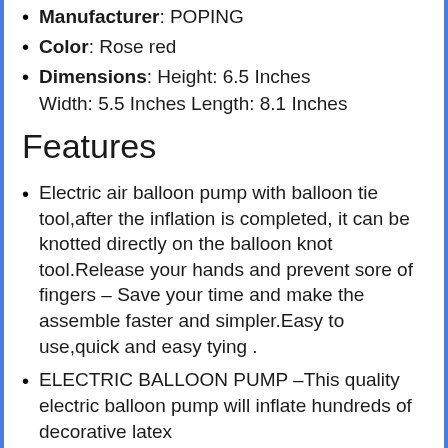Manufacturer: POPING
Color: Rose red
Dimensions: Height: 6.5 Inches Width: 5.5 Inches Length: 8.1 Inches
Features
Electric air balloon pump with balloon tie tool,after the inflation is completed, it can be knotted directly on the balloon knot tool.Release your hands and prevent sore of fingers – Save your time and make the assemble faster and simpler.Easy to use,quick and easy tying .
ELECTRIC BALLOON PUMP –This quality electric balloon pump will inflate hundreds of decorative latex